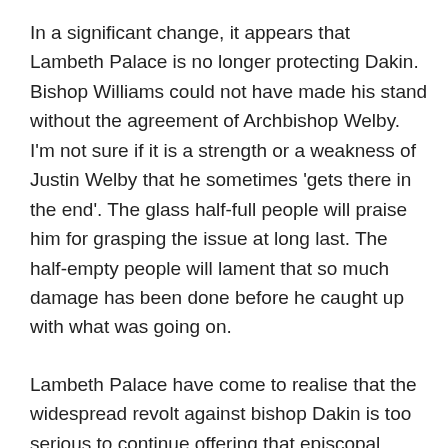In a significant change, it appears that Lambeth Palace is no longer protecting Dakin. Bishop Williams could not have made his stand without the agreement of Archbishop Welby. I'm not sure if it is a strength or a weakness of Justin Welby that he sometimes 'gets there in the end'. The glass half-full people will praise him for grasping the issue at long last. The half-empty people will lament that so much damage has been done before he caught up with what was going on.
Lambeth Palace have come to realise that the widespread revolt against bishop Dakin is too serious to continue offering that episcopal immunity they have provided until now.